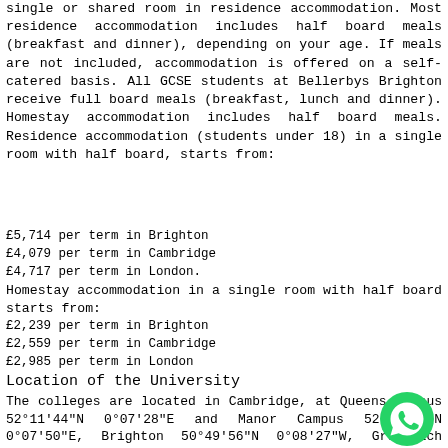single or shared room in residence accommodation. Most residence accommodation includes half board meals (breakfast and dinner), depending on your age. If meals are not included, accommodation is offered on a self-catered basis. All GCSE students at Bellerbys Brighton receive full board meals (breakfast, lunch and dinner). Homestay accommodation includes half board meals. Residence accommodation (students under 18) in a single room with half board, starts from:
£5,714 per term in Brighton
£4,079 per term in Cambridge
£4,717 per term in London.
Homestay accommodation in a single room with half board starts from:
£2,239 per term in Brighton
£2,559 per term in Cambridge
£2,985 per term in London
Location of the University
The colleges are located in Cambridge, at Queens Campus 52°11′44″N 0°07′28″E and Manor Campus 52°13′29″N 0°07′50″E, Brighton 50°49′56″N 0°08′27″W, Greenwich 51°28′56″N 0°01′19″W, and formerly Oxford 51°45′00″N 1°16′17″W.
If you are planning to study abroad in the UK and targeting this university, you can get in touch with AEC. Give us a call on +91-8448446609 or 011-43334444 to get assistance on call. You can also
[Figure (logo): WhatsApp green phone icon logo]